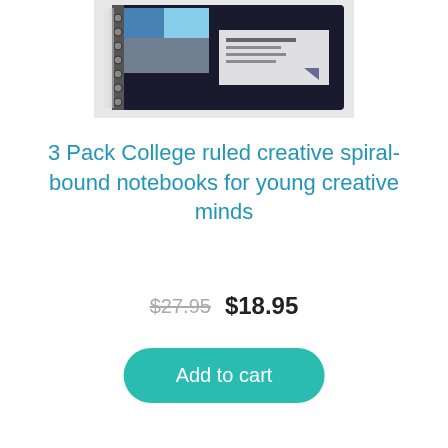[Figure (photo): Product image of spiral-bound notebooks, shown at the top of the page, partially cropped. The notebooks have a dark/black cover with colorful design elements.]
3 Pack College ruled creative spiral-bound notebooks for young creative minds
$27.95  $18.95
Add to cart